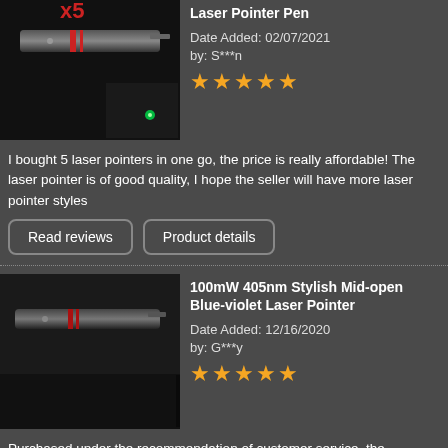Laser Pointer Pen
Date Added: 02/07/2021
by: S***n
[Figure (photo): Photo of a black laser pointer pen with red ring, with inset showing green laser dot on wall]
I bought 5 laser pointers in one go, the price is really affordable! The laser pointer is of good quality, I hope the seller will have more laser pointer styles
Read reviews
Product details
100mW 405nm Stylish Mid-open Blue-violet Laser Pointer
Date Added: 12/16/2020
by: G***y
[Figure (photo): Photo of a black laser pointer pen with inset showing purple/violet laser dot]
Purchased under the recommendation of customer service, the customer service is very patient and the service attitude is very good. Although it took a while to wait for the package, this laser pointer is worth it. It is small in size and the beam is super beautiful.